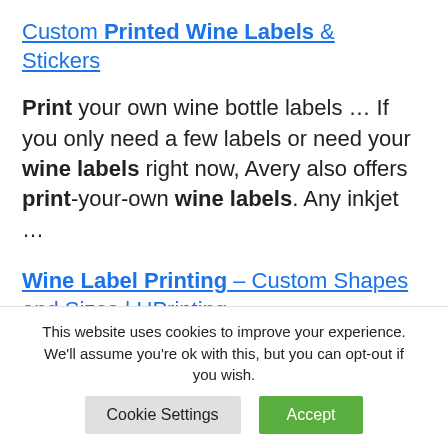Custom Printed Wine Labels & Stickers
Print your own wine bottle labels … If you only need a few labels or need your wine labels right now, Avery also offers print-your-own wine labels. Any inkjet …
Wine Label Printing – Custom Shapes and Sizes | UPrinting
Print custom wine labels for
This website uses cookies to improve your experience. We'll assume you're ok with this, but you can opt-out if you wish. Cookie Settings Accept